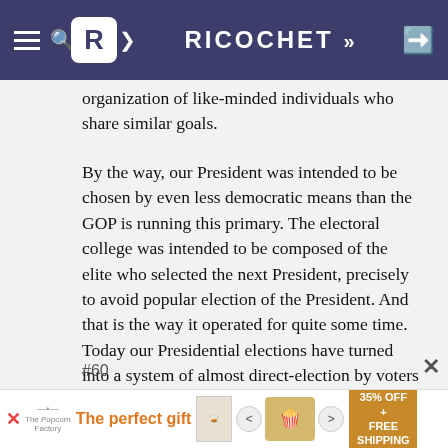RICOCHET
organization of like-minded individuals who share similar goals.
By the way, our President was intended to be chosen by even less democratic means than the GOP is running this primary. The electoral college was intended to be composed of the elite who selected the next President, precisely to avoid popular election of the President. And that is the way it operated for quite some time. Today our Presidential elections have turned into a system of almost direct-election by voters and the quality of our Presidents has gone markedly downhill.
#60
[Figure (screenshot): Advertisement banner: The perfect gift with food product images, navigation arrows, and 35% OFF + FREE SHIPPING promotional badge]